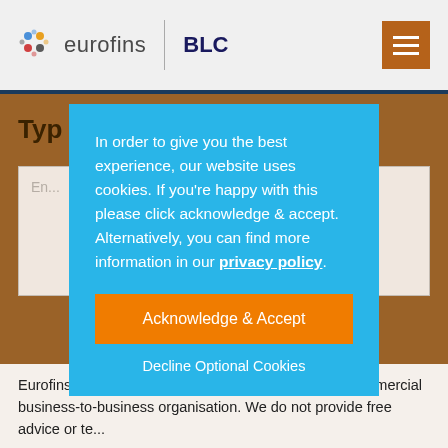[Figure (logo): Eurofins BLC logo with colorful dot icon, divider, and BLC text in navy]
In order to give you the best experience, our website uses cookies. If you're happy with this please click acknowledge & accept. Alternatively, you can find more information in our privacy policy.
Acknowledge & Accept
Decline Optional Cookies
Typ
Eurofins | BLC Leather Technology Centre Ltd. is a commercial business-to-business organisation. We do not provide free advice or te...